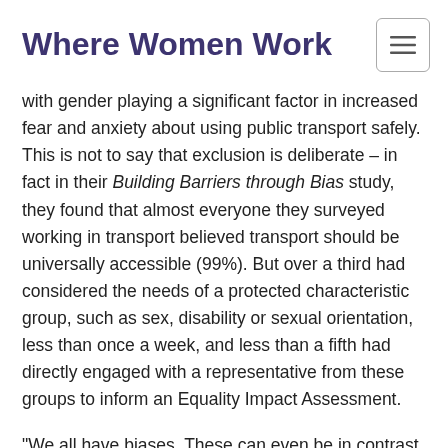Where Women Work
with gender playing a significant factor in increased fear and anxiety about using public transport safely. This is not to say that exclusion is deliberate – in fact in their Building Barriers through Bias study, they found that almost everyone they surveyed working in transport believed transport should be universally accessible (99%). But over a third had considered the needs of a protected characteristic group, such as sex, disability or sexual orientation, less than once a week, and less than a fifth had directly engaged with a representative from these groups to inform an Equality Impact Assessment.
"We all have biases. These can even be in contrast with our considered beliefs. But there appears to be a disparity between the views and actions of transport professionals